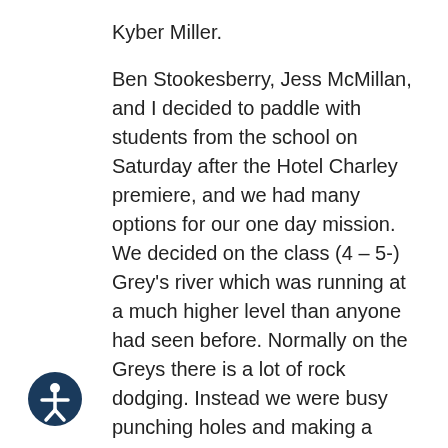Kyber Miller.
Ben Stookesberry, Jess McMillan, and I decided to paddle with students from the school on Saturday after the Hotel Charley premiere, and we had many options for our one day mission. We decided on the class (4 – 5-) Grey's river which was running at a much higher level than anyone had seen before. Normally on the Greys there is a lot of rock dodging. Instead we were busy punching holes and making a must make ferry through the sections most difficult rapid Snagletooth. During his second run down, Kyber Miller boated my Super Hero nd loved it. He couldn't believe how fast and maneuverable the boat was compared